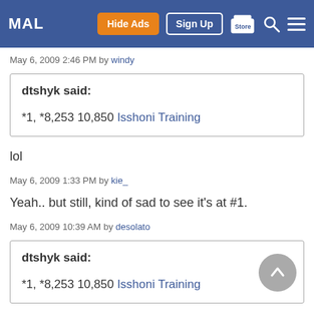MAL | Hide Ads | Sign Up | Store
May 6, 2009 2:46 PM by windy
dtshyk said:

*1, *8,253 10,850 Isshoni Training
lol
May 6, 2009 1:33 PM by kie_
Yeah.. but still, kind of sad to see it's at #1.
May 6, 2009 10:39 AM by desolato
dtshyk said:

*1, *8,253 10,850 Isshoni Training